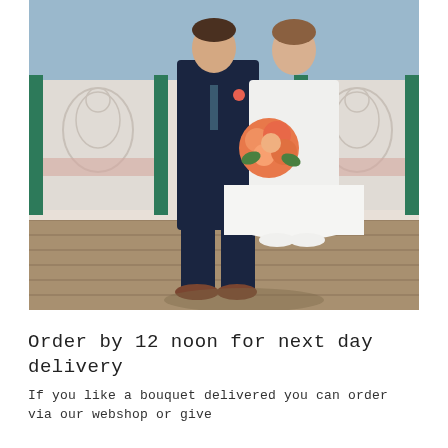[Figure (photo): Wedding photo of a bride and groom standing on a wooden pier/boardwalk. The groom is in a dark navy suit with a boutonniere, and the bride is in a white tea-length dress holding a coral/orange bouquet of roses. Behind them is decorative white ironwork railing with green metal posts, and water is visible in the background.]
Order by 12 noon for next day delivery
If you like a bouquet delivered you can order via our webshop or give